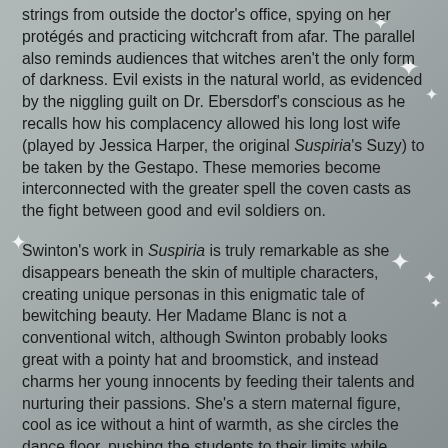strings from outside the doctor's office, spying on her protégés and practicing witchcraft from afar. The parallel also reminds audiences that witches aren't the only form of darkness. Evil exists in the natural world, as evidenced by the niggling guilt on Dr. Ebersdorf's conscious as he recalls how his complacency allowed his long lost wife (played by Jessica Harper, the original Suspiria's Suzy) to be taken by the Gestapo. These memories become interconnected with the greater spell the coven casts as the fight between good and evil soldiers on.
Swinton's work in Suspiria is truly remarkable as she disappears beneath the skin of multiple characters, creating unique personas in this enigmatic tale of bewitching beauty. Her Madame Blanc is not a conventional witch, although Swinton probably looks great with a pointy hat and broomstick, and instead charms her young innocents by feeding their talents and nurturing their passions. She's a stern maternal figure, cool as ice without a hint of warmth, as she circles the dance floor, pushing the students to their limits while harnessing their youthful spirits for her powers.